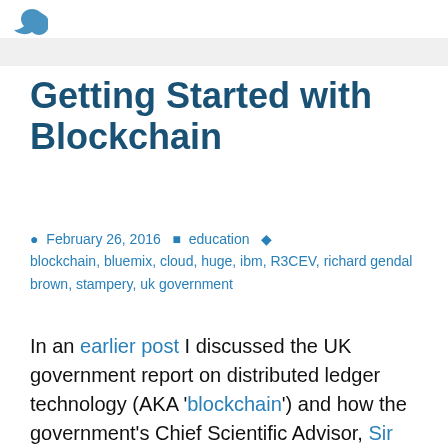Getting Started with Blockchain
February 26, 2016  education  blockchain, bluemix, cloud, huge, ibm, R3CEV, richard gendal brown, stampery, uk government
In an earlier post I discussed the UK government report on distributed ledger technology (AKA 'blockchain') and how the government's Chief Scientific Advisor, Sir Mark Walport, was doing the rounds advocating the idea that blockchain for government for…